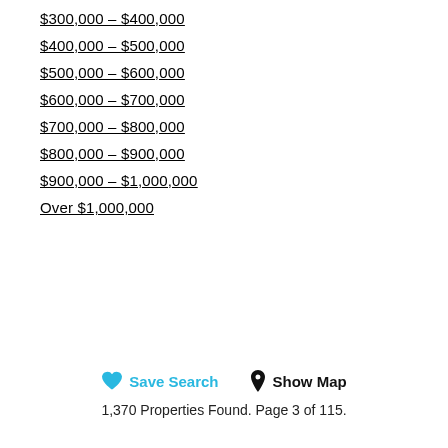$300,000 - $400,000
$400,000 - $500,000
$500,000 - $600,000
$600,000 - $700,000
$700,000 - $800,000
$800,000 - $900,000
$900,000 - $1,000,000
Over $1,000,000
Save Search  Show Map
1,370 Properties Found. Page 3 of 115.